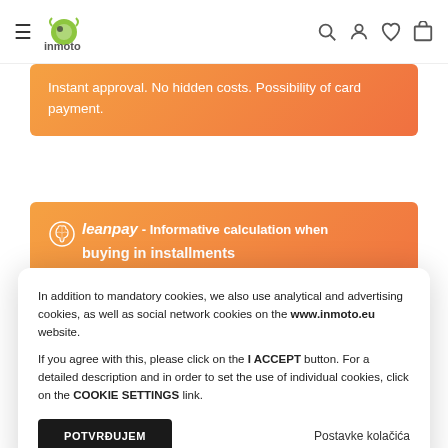inmoto website header with hamburger menu, logo, and icons (search, user, heart, cart)
Instant approval. No hidden costs. Possibility of card payment.
leanpay - Informative calculation when buying in installments
In addition to mandatory cookies, we also use analytical and advertising cookies, as well as social network cookies on the www.inmoto.eu website.
If you agree with this, please click on the I ACCEPT button. For a detailed description and in order to set the use of individual cookies, click on the COOKIE SETTINGS link.
POTVRĐUJEM
Postavke kolačića